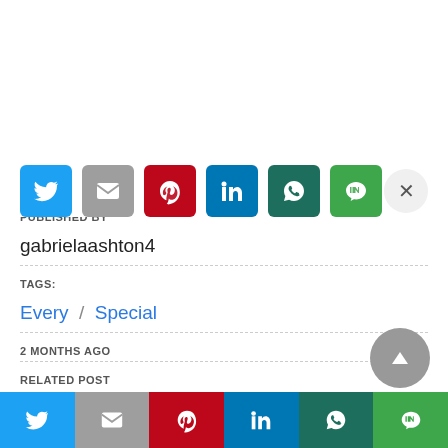[Figure (screenshot): Social share icons row (Twitter, Gmail, Pinterest, LinkedIn, WhatsApp, Line) with close X button]
PUBLISHED BY
gabrielaashton4
TAGS:
Every / Special
2 MONTHS AGO
RELATED POST
[Figure (screenshot): Bottom social share bar (Twitter, Gmail, Pinterest, LinkedIn, WhatsApp, Line)]